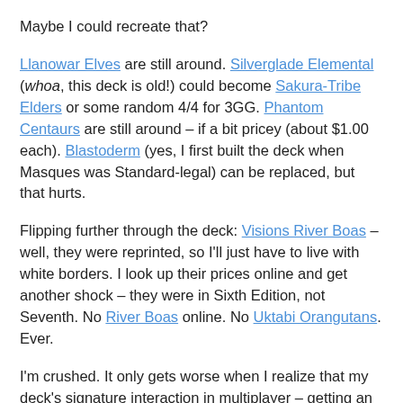Maybe I could recreate that?
Llanowar Elves are still around. Silverglade Elemental (whoa, this deck is old!) could become Sakura-Tribe Elders or some random 4/4 for 3GG. Phantom Centaurs are still around – if a bit pricey (about $1.00 each). Blastoderm (yes, I first built the deck when Masques was Standard-legal) can be replaced, but that hurts.
Flipping further through the deck: Visions River Boas – well, they were reprinted, so I'll just have to live with white borders. I look up their prices online and get another shock – they were in Sixth Edition, not Seventh. No River Boas online. No Uktabi Orangutans. Ever.
I'm crushed. It only gets worse when I realize that my deck's signature interaction in multiplayer – getting an Armadillo Cloak or Loxodon Warhammer on Squallmonger – won't work either. Squallmonger is in Masques.